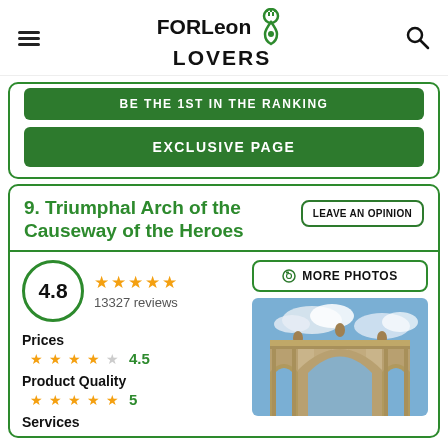FORLeon LOVERS
BE THE 1ST IN THE RANKING
EXCLUSIVE PAGE
9. Triumphal Arch of the Causeway of the Heroes
LEAVE AN OPINION
4.8
13327 reviews
MORE PHOTOS
Prices
4.5
Product Quality
5
Services
[Figure (photo): Photo of the Triumphal Arch of the Causeway of the Heroes, showing classical stone arches with columns against a blue sky with clouds]